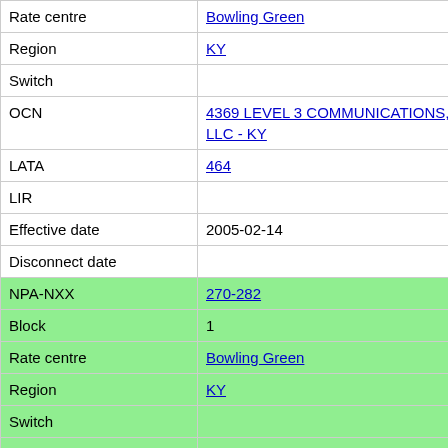| Field | Value |
| --- | --- |
| Rate centre | Bowling Green |
| Region | KY |
| Switch |  |
| OCN | 4369 LEVEL 3 COMMUNICATIONS, LLC - KY |
| LATA | 464 |
| LIR |  |
| Effective date | 2005-02-14 |
| Disconnect date |  |
| NPA-NXX | 270-282 |
| Block | 1 |
| Rate centre | Bowling Green |
| Region | KY |
| Switch |  |
| OCN | 6214 NEW CINGULAR WIRELESS PCS, LLC - GA |
| LATA | 464 |
| LIR |  |
| Effective date | 2005-08-12 |
| Disconnect date |  |
| NPA-NXX | 270-282 |
| Block | 2 |